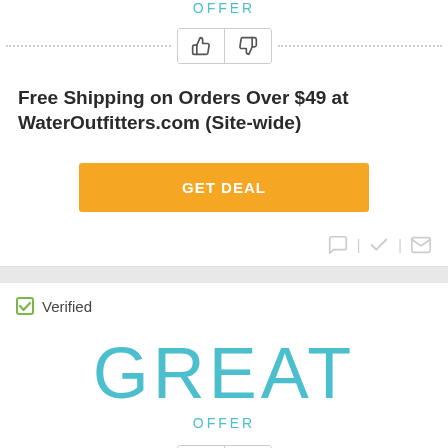OFFER
[Figure (other): Thumbs up and thumbs down voting buttons in a bordered box with dashed lines on either side]
Free Shipping on Orders Over $49 at WaterOutfitters.com (Site-wide)
GET DEAL
[Figure (other): Action icons: comment bubble, checkmark, and envelope with separator lines]
Verified
GREAT
OFFER
[Figure (other): Thumbs up and thumbs down voting buttons in a bordered box with dashed lines on either side]